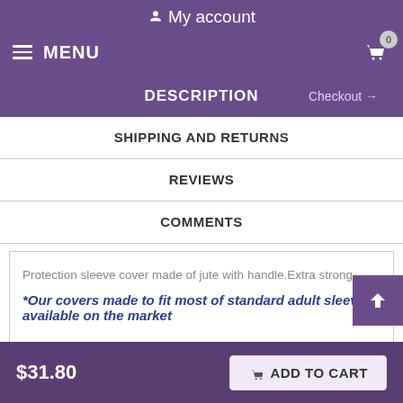My account
MENU  0
DESCRIPTION  Checkout →
SHIPPING AND RETURNS
REVIEWS
COMMENTS
Protection sleeve cover made of jute with handle.Extra strong.
*Our covers made to fit most of standard adult sleeves available on the market
$31.80   ADD TO CART